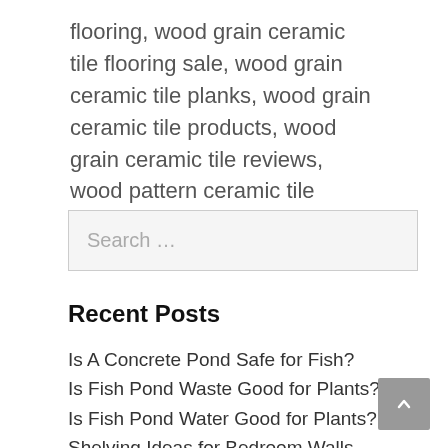flooring, wood grain ceramic tile flooring sale, wood grain ceramic tile planks, wood grain ceramic tile products, wood grain ceramic tile reviews, wood pattern ceramic tile
Search …
Recent Posts
Is A Concrete Pond Safe for Fish?
Is Fish Pond Waste Good for Plants?
Is Fish Pond Water Good for Plants?
Shelving Ideas for Bedroom Walls Change Your